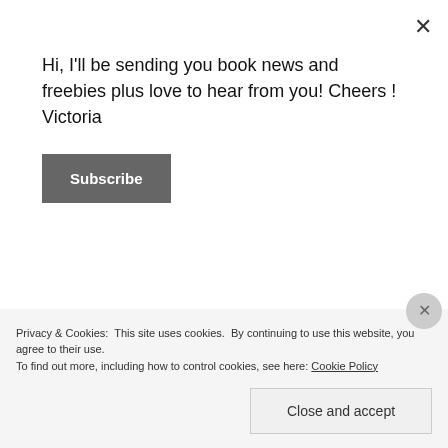Hi, I'll be sending you book news and freebies plus love to hear from you! Cheers ! Victoria
Subscribe
June 2019
May 2019
April 2019
March 2019
Privacy & Cookies: This site uses cookies. By continuing to use this website, you agree to their use. To find out more, including how to control cookies, see here: Cookie Policy
Close and accept